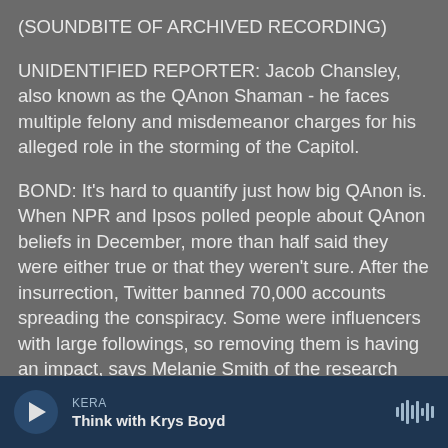(SOUNDBITE OF ARCHIVED RECORDING)
UNIDENTIFIED REPORTER: Jacob Chansley, also known as the QAnon Shaman - he faces multiple felony and misdemeanor charges for his alleged role in the storming of the Capitol.
BOND: It's hard to quantify just how big QAnon is. When NPR and Ipsos polled people about QAnon beliefs in December, more than half said they were either true or that they weren't sure. After the insurrection, Twitter banned 70,000 accounts spreading the conspiracy. Some were influencers with large followings, so removing them is having an impact, says Melanie Smith of the research firm Graphika.
KERA — Think with Krys Boyd